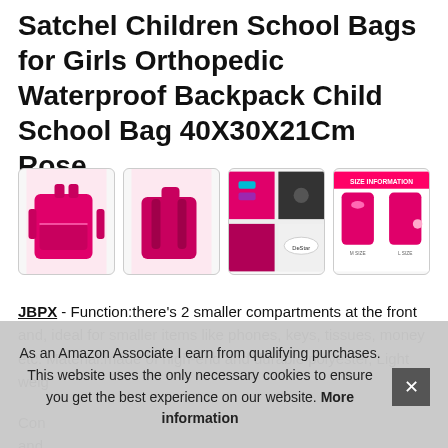Satchel Children School Bags for Girls Orthopedic Waterproof Backpack Child School Bag 40X30X21Cm Rose
[Figure (photo): Four product images of a rose/pink children's school backpack: front view, back view, detail collage, and size information chart.]
JBPX - Function:there's 2 smaller compartments at the front and, ideal for smaller items like phones, keys, tissues, money etc. Material:made of high-end and durable polyester, Light weig
Con and
As an Amazon Associate I earn from qualifying purchases. This website uses the only necessary cookies to ensure you get the best experience on our website. More information